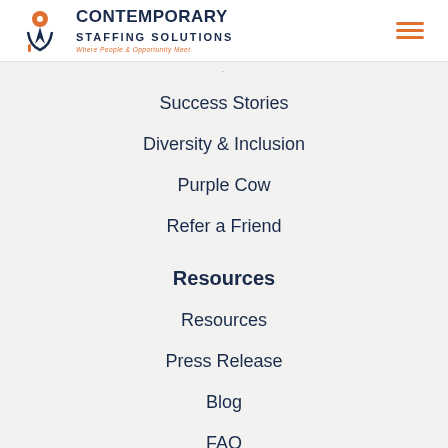Contemporary Staffing Solutions — Where People & Opportunity Meet
Success Stories
Diversity & Inclusion
Purple Cow
Refer a Friend
Resources
Resources
Press Release
Blog
FAQ